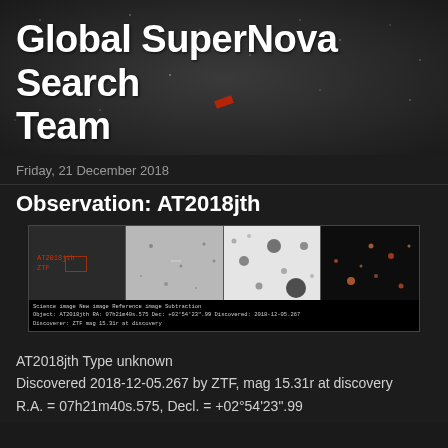Global SuperNova Search Team
Friday, 21 December 2018
Observation: AT2018jth
[Figure (photo): Astronomical observation composite image showing four panels: a dark field with red annotation text, a light grey star field, a white inverted image with large dark stellar objects, and a dark field with colored point sources. Below the panels is a caption strip with small text metadata.]
AT2018jth Type unknown
Discovered 2018-12-05.267 by ZTF, mag 15.31r at discovery
R.A. = 07h21m40s.575, Decl. = +02°54'23".99